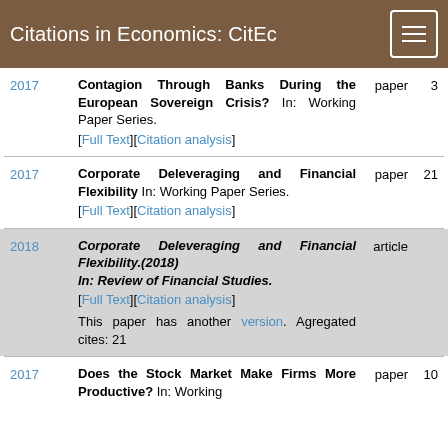Citations in Economics: CitEc
2017 | Contagion Through Banks During the European Sovereign Crisis? In: Working Paper Series. [Full Text][Citation analysis] | paper | 3
2017 | Corporate Deleveraging and Financial Flexibility In: Working Paper Series. [Full Text][Citation analysis] | paper | 21
2018 | Corporate Deleveraging and Financial Flexibility.(2018) In: Review of Financial Studies. [Full Text][Citation analysis] This paper has another version. Agregated cites: 21 | article
2017 | Does the Stock Market Make Firms More Productive? In: Working | paper | 10